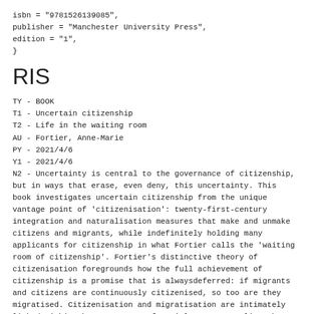isbn = "9781526139085",
publisher = "Manchester University Press",
edition = "1",
}
RIS
TY - BOOK
T1 - Uncertain citizenship
T2 - Life in the waiting room
AU - Fortier, Anne-Marie
PY - 2021/4/6
Y1 - 2021/4/6
N2 - Uncertainty is central to the governance of citizenship, but in ways that erase, even deny, this uncertainty. This book investigates uncertain citizenship from the unique vantage point of 'citizenisation': twenty-first-century integration and naturalisation measures that make and unmake citizens and migrants, while indefinitely holding many applicants for citizenship in what Fortier calls the 'waiting room of citizenship'. Fortier's distinctive theory of citizenisation foregrounds how the full achievement of citizenship is a promise that is alwaysdeferred: if migrants and citizens are continuously citizenised, so too are they migratised. Citizenisation and migratisation are intimately linked within the structures of racial governmentality that enables the citizenship of racially minoritised citizens to be questioned and that casts them as perpetual migrants.Drawing on multi-sited fieldwork with migrants applying for citizenship or settlement and with intermediaries of the state tasked with implementing citizenship programmes, and with those who are citizens...